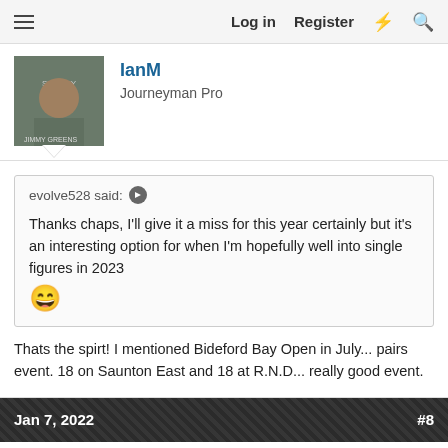Log in  Register
IanM
Journeyman Pro
evolve528 said: ↪
Thanks chaps, I'll give it a miss for this year certainly but it's an interesting option for when I'm hopefully well into single figures in 2023 😄
Thats the spirt! I mentioned Bideford Bay Open in July... pairs event. 18 on Saunton East and 18 at R.N.D... really good event.
Jan 7, 2022  #8
evolve528
New member